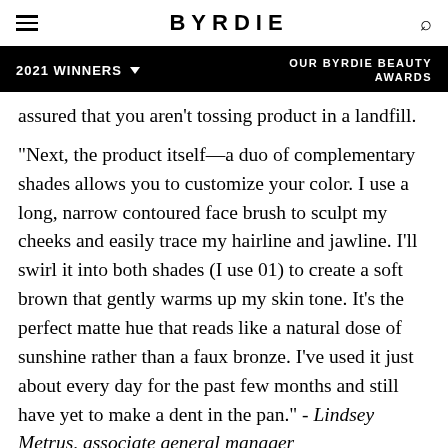BYRDIE
2021 WINNERS  OUR BYRDIE BEAUTY AWARDS
assured that you aren't tossing product in a landfill.

"Next, the product itself—a duo of complementary shades allows you to customize your color. I use a long, narrow contoured face brush to sculpt my cheeks and easily trace my hairline and jawline. I'll swirl it into both shades (I use 01) to create a soft brown that gently warms up my skin tone. It's the perfect matte hue that reads like a natural dose of sunshine rather than a faux bronze. I've used it just about every day for the past few months and still have yet to make a dent in the pan." - Lindsey Metrus, associate general manager